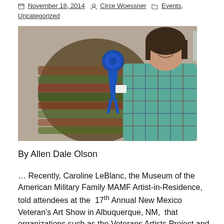November 18, 2014  Circe Woessner  Events, Uncategorized
[Figure (photo): Two people posing together; one holding or standing next to a knitted/crocheted textile with a blue first-place ribbon attached.]
By Allen Dale Olson
… Recently, Caroline LeBlanc, the Museum of the American Military Family MAMF Artist-in-Residence, told attendees at the 17th Annual New Mexico Veteran's Art Show in Albuquerque, NM, that organizations such as the Veterans Artists Project and the Museum of the American Military